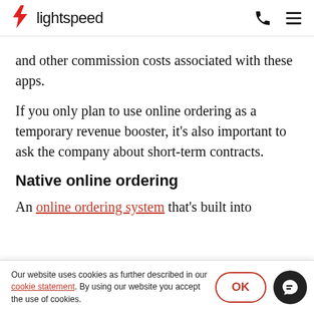lightspeed
and other commission costs associated with these apps.
If you only plan to use online ordering as a temporary revenue booster, it's also important to ask the company about short-term contracts.
Native online ordering
An online ordering system that's built into
Our website uses cookies as further described in our cookie statement. By using our website you accept the use of cookies.